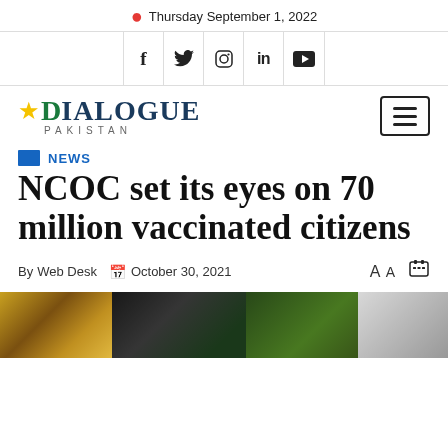• Thursday September 1, 2022
[Figure (other): Social media icons row: Facebook, Twitter, Instagram, LinkedIn, YouTube]
[Figure (logo): Dialogue Pakistan logo with star emblem and hamburger menu button]
NEWS
NCOC set its eyes on 70 million vaccinated citizens
By Web Desk  October 30, 2021   A A  [print icon]
[Figure (photo): Blurred news article image strip showing multiple photos]